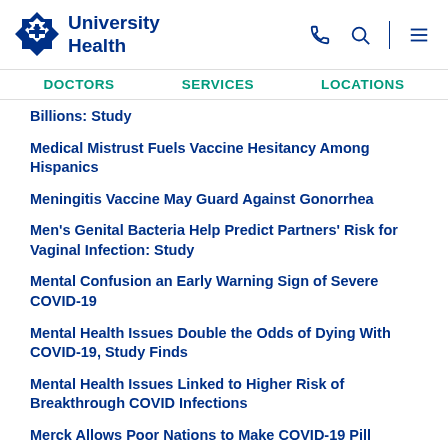University Health
Billions: Study
Medical Mistrust Fuels Vaccine Hesitancy Among Hispanics
Meningitis Vaccine May Guard Against Gonorrhea
Men's Genital Bacteria Help Predict Partners' Risk for Vaginal Infection: Study
Mental Confusion an Early Warning Sign of Severe COVID-19
Mental Health Issues Double the Odds of Dying With COVID-19, Study Finds
Mental Health Issues Linked to Higher Risk of Breakthrough COVID Infections
Merck Allows Poor Nations to Make COVID-19 Pill